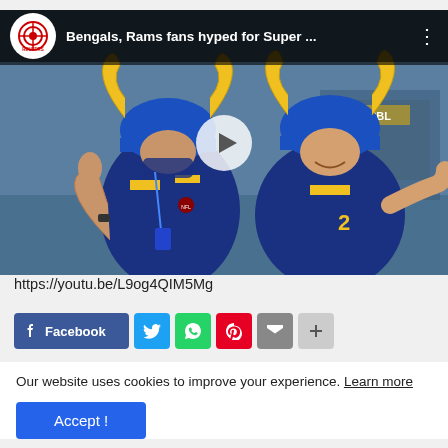[Figure (screenshot): Reuters YouTube video thumbnail showing two LA Rams fans in blue and yellow hard hats with ram horns, giving thumbs up, with a play button overlay. Video title: 'Bengals, Rams fans hyped for Super...']
https://youtu.be/L9og4QIM5Mg
[Figure (other): Social media share buttons: Facebook, Twitter, WhatsApp, Pinterest, Email, Plus]
Our website uses cookies to improve your experience. Learn more
Accept !